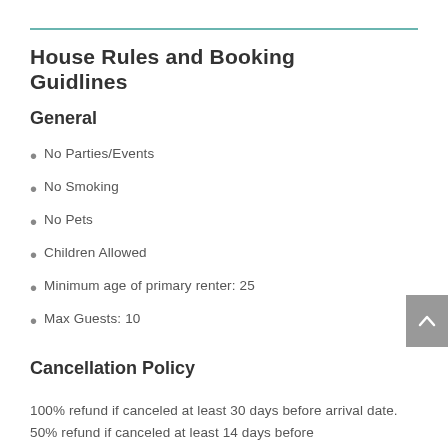House Rules and Booking Guidlines
General
No Parties/Events
No Smoking
No Pets
Children Allowed
Minimum age of primary renter: 25
Max Guests: 10
Cancellation Policy
100% refund if canceled at least 30 days before arrival date. 50% refund if canceled at least 14 days before